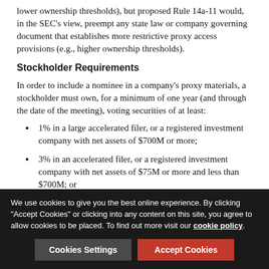lower ownership thresholds), but proposed Rule 14a-11 would, in the SEC's view, preempt any state law or company governing document that establishes more restrictive proxy access provisions (e.g., higher ownership thresholds).
Stockholder Requirements
In order to include a nominee in a company's proxy materials, a stockholder must own, for a minimum of one year (and through the date of the meeting), voting securities of at least:
1% in a large accelerated filer, or a registered investment company with net assets of $700M or more;
3% in an accelerated filer, or a registered investment company with net assets of $75M or more and less than $700M; or
5% in a non-accelerated filer, or a registered investment (partial, cut off)
We use cookies to give you the best online experience. By clicking "Accept Cookies" or clicking into any content on this site, you agree to allow cookies to be placed. To find out more visit our cookie policy.